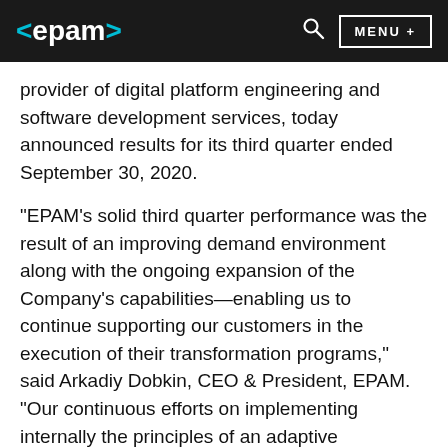<epam> [logo] | [search icon] | MENU +
provider of digital platform engineering and software development services, today announced results for its third quarter ended September 30, 2020.
"EPAM's solid third quarter performance was the result of an improving demand environment along with the ongoing expansion of the Company's capabilities—enabling us to continue supporting our customers in the execution of their transformation programs," said Arkadiy Dobkin, CEO & President, EPAM. "Our continuous efforts on implementing internally the principles of an adaptive organization, allow us to navigate the realities of the global economic environment more effectively, while increasing the value we bring to